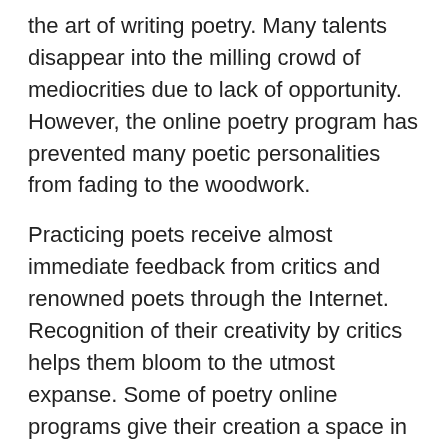the art of writing poetry. Many talents disappear into the milling crowd of mediocrities due to lack of opportunity. However, the online poetry program has prevented many poetic personalities from fading to the woodwork.
Practicing poets receive almost immediate feedback from critics and renowned poets through the Internet. Recognition of their creativity by critics helps them bloom to the utmost expanse. Some of poetry online programs give their creation a space in publications in different parts of the world. These programs also provide poetic scholars with food for thought and blooming poets with a glimpse into the work of well-known poets.
Resources For Poets
Poetry online resources for hopeful poets are many in numbers. Majority of them include message boards, links, chat, poetry markets, web version of magazines and journals. Some of them include option for discussion of